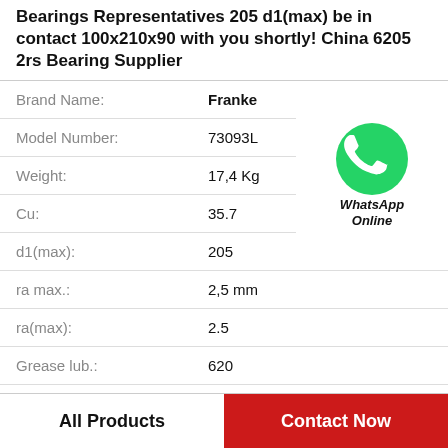Bearings Representatives 205 d1(max) be in contact 100x210x90 with you shortly! China 6205 2rs Bearing Supplier
| Attribute | Value |
| --- | --- |
| Brand Name: | Franke |
| Model Number: | 73093L |
| Weight: | 17,4 Kg |
| Cu: | 35.7 |
| d1(max): | 205 |
| ra max.: | 2,5 mm |
| ra(max): | 2.5 |
| Grease lub.: | 620 |
[Figure (logo): WhatsApp Online green phone icon with label 'WhatsApp Online']
All Products
Contact Now